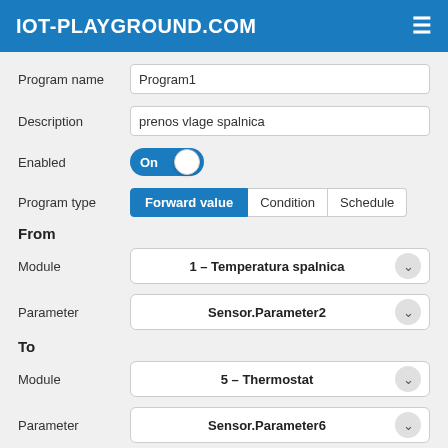IOT-PLAYGROUND.COM
Program name: Program1
Description: prenos vlage spalnica
Enabled: On
Program type: Forward value | Condition | Schedule
From
Module: 1 - Temperatura spalnica
Parameter: Sensor.Parameter2
To
Module: 5 - Thermostat
Parameter: Sensor.Parameter6